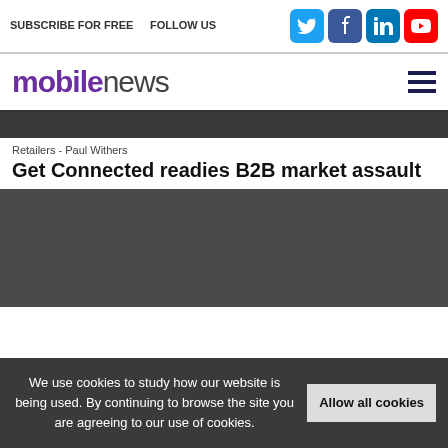SUBSCRIBE FOR FREE  |  FOLLOW US
[Figure (logo): mobilenews logo with hamburger menu icon]
[Figure (other): Dark grey banner strip]
Retailers - Paul Withers
Get Connected readies B2B market assault
[Figure (photo): Dark grey image placeholder for article photo]
We use cookies to study how our website is being used. By continuing to browse the site you are agreeing to our use of cookies.